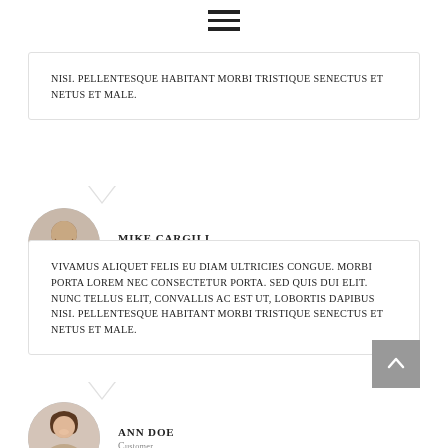[Figure (other): Hamburger menu icon with three horizontal lines]
nisi. Pellentesque habitant morbi tristique senectus et netus et male.
[Figure (photo): Circular avatar photo of Mike Cargill]
MIKE CARGILL
H B Media, CTO
Vivamus aliquet felis eu diam ultricies congue. Morbi porta lorem nec consectetur porta. Sed quis dui elit. Nunc tellus elit, convallis ac est ut, lobortis dapibus nisi. Pellentesque habitant morbi tristique senectus et netus et male.
[Figure (photo): Circular avatar photo of Ann Doe]
ANN DOE
Customer